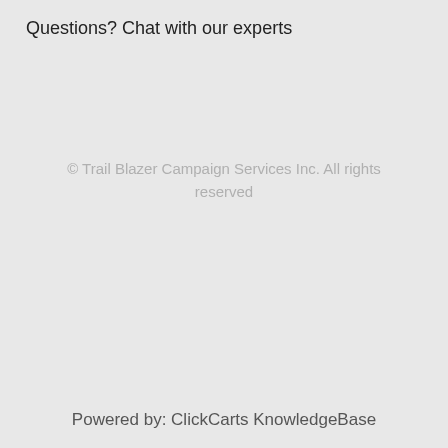Questions? Chat with our experts
© Trail Blazer Campaign Services Inc. All rights reserved
Powered by: ClickCarts KnowledgeBase